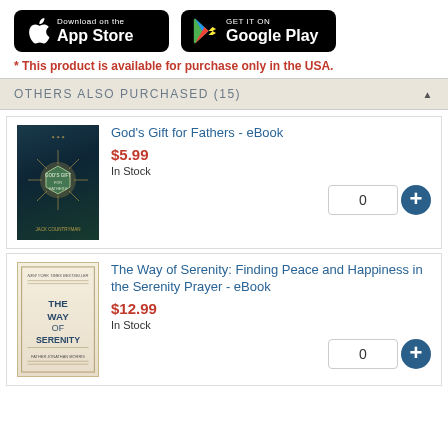[Figure (logo): Download on the App Store button (black, Apple logo)]
[Figure (logo): Get it on Google Play button (black, Google Play triangle logo)]
* This product is available for purchase only in the USA.
OTHERS ALSO PURCHASED (15)
[Figure (photo): Book cover: God's Gift for Fathers, dark teal cover with hexagon and sunburst design]
God's Gift for Fathers - eBook
$5.99
In Stock
[Figure (photo): Book cover: The Way of Serenity, light cream/beige cover with blue text]
The Way of Serenity: Finding Peace and Happiness in the Serenity Prayer - eBook
$12.99
In Stock